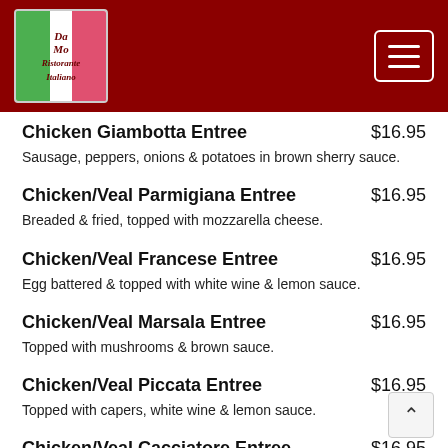Restaurant menu header with logo and navigation button
Chicken Giambotta Entree $16.95 — Sausage, peppers, onions & potatoes in brown sherry sauce.
Chicken/Veal Parmigiana Entree $16.95 — Breaded & fried, topped with mozzarella cheese.
Chicken/Veal Francese Entree $16.95 — Egg battered & topped with white wine & lemon sauce.
Chicken/Veal Marsala Entree $16.95 — Topped with mushrooms & brown sauce.
Chicken/Veal Piccata Entree $16.95 — Topped with capers, white wine & lemon sauce.
Chicken/Veal Cacciatore Entree $16.95 — Topped with peppers, onions, mushrooms & red sauce.
The Three Mushroom Entree $16.95 (partial, cut off)